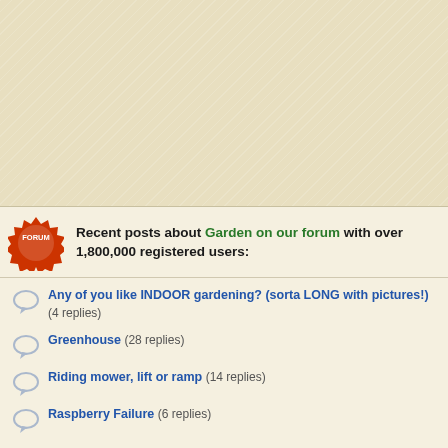[Figure (screenshot): Beige/tan textured background filling the upper portion of the page]
Recent posts about Garden on our forum with over 1,800,000 registered users:
Any of you like INDOOR gardening? (sorta LONG with pictures!)  (4 replies)
Greenhouse  (28 replies)
Riding mower, lift or ramp  (14 replies)
Raspberry Failure  (6 replies)